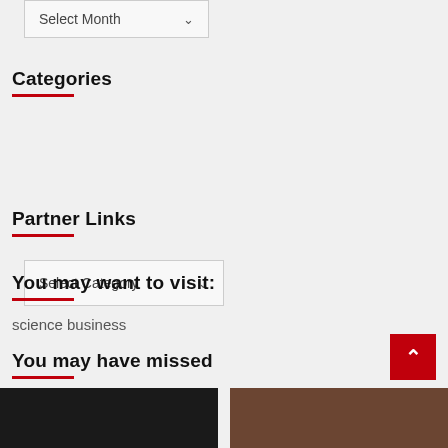[Figure (screenshot): Select Month dropdown widget]
Categories
[Figure (screenshot): Select Category dropdown widget]
Partner Links
You may want to visit:
science business
You may have missed
[Figure (photo): Dark thumbnail image on left]
[Figure (photo): Brown/warm thumbnail image on right]